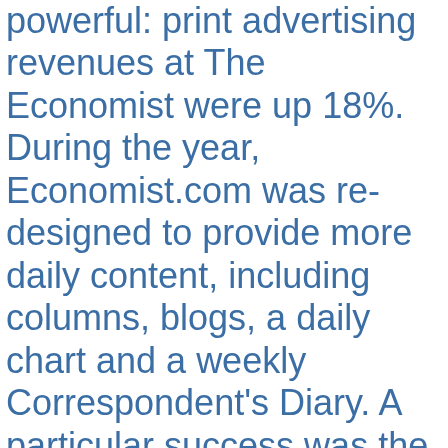powerful: print advertising revenues at The Economist were up 18%. During the year, Economist.com was re-designed to provide more daily content, including columns, blogs, a daily chart and a weekly Correspondent's Diary. A particular success was the weekly podcast: by the end of the year nearly 600,000 people were downloading audio content from the website each month. Economist.com also received